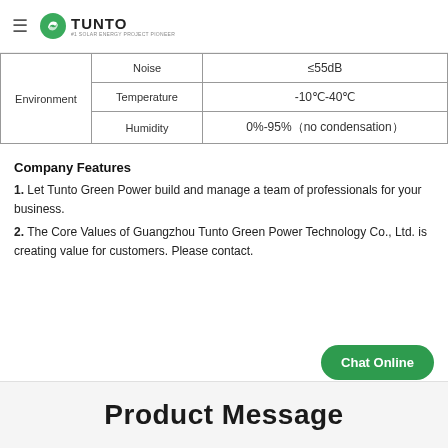Tunto - #1 SOLAR ENERGY PROJECT PIONEER
|  |  |  |
| --- | --- | --- |
| Environment | Noise | ≤55dB |
|  | Temperature | -10℃-40℃ |
|  | Humidity | 0%-95%（no condensation） |
Company Features
1. Let Tunto Green Power build and manage a team of professionals for your business.
2. The Core Values of Guangzhou Tunto Green Power Technology Co., Ltd. is creating value for customers. Please contact.
Product Message